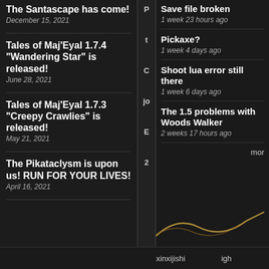The Santascape has come!
December 15, 2021
Tales of Maj'Eyal 1.7.4 "Wandering Star" is released!
June 28, 2021
Tales of Maj'Eyal 1.7.3 "Creepy Crawlies" is released!
May 21, 2021
The Pikataclysm is upon us! RUN FOR YOUR LIVES!
April 16, 2021
P
t
C
jo
E
2
Save file broken
1 week 23 hours ago
Pickaxe?
1 week 4 days ago
Shoot lua error still there
1 week 6 days ago
The 1.5 problems with Woods Walker
2 weeks 17 hours ago
mor
xinxijishi    igh